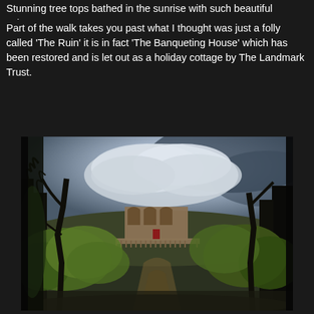Stunning tree tops bathed in the sunrise with such beautiful colours.
Part of the walk takes you past what I thought was just a folly called 'The Ruin' it is in fact 'The Banqueting House' which has been restored and is let out as a holiday cottage by The Landmark Trust.
[Figure (photo): Photograph of a ruined stone building (The Banqueting House) with arched windows visible above a wooded hillside, surrounded by bare and leafy trees, under a dramatic cloudy sky.]